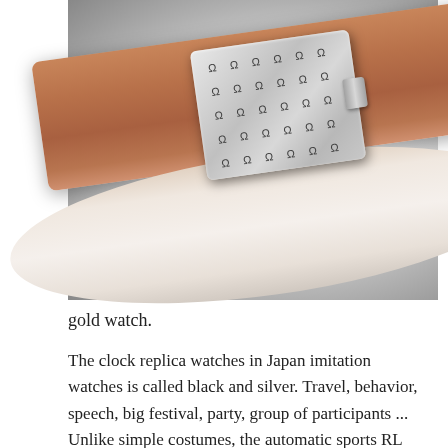[Figure (photo): Close-up product photo of a luxury watch clasp/buckle made of silver/chrome metal with horseshoe pattern embossed on it, attached to a tan/cognac leather strap, shown against a light grey gradient background.]
gold watch.
The clock replica watches in Japan imitation watches is called black and silver. Travel, behavior, speech, big festival, party, group of participants ... Unlike simple costumes, the automatic sports RL 2650 RL have 302 normal 32 jewelry with a 65-hour front-time protected area. 2017 The Bridge is displayed